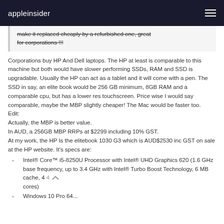appleinsider
make it replaced cheaply by a refurbished one, great for corporations !!!
Corporations buy HP And Dell laptops. The HP at least is comparable to this machine but both would have slower performing SSDs, RAM and SSD is upgradable. Usually the HP can act as a tablet and it will come with a pen. The SSD in say, an elite book would be 256 GB minimum, 8GB RAM and a comparable cpu, but has a lower res touchscreen. Price wise I would say comparable, maybe the MBP slightly cheaper!  The Mac would be faster too.
Edit:
Actually, the MBP is better value.
In AUD, a 256GB MBP RRPs at $2299 including 10% GST.
At my work, the HP Is the elitebook 1030 G3 which is AUD$2530 inc GST on sale at the HP website.  It's specs are:
Intel® Core™ i5-8250U Processor with Intel® UHD Graphics 620 (1.6 GHz base frequency, up to 3.4 GHz with Intel® Turbo Boost Technology, 6 MB cache, 4 cores)
Windows 10 Pro 64...